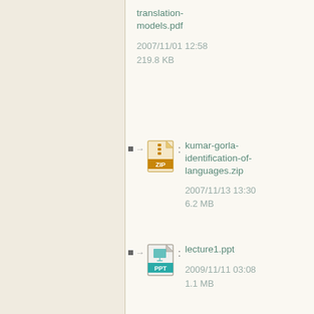translation-models.pdf
2007/11/01 12:58
219.8 KB
kumar-gorla-identification-of-languages.zip
2007/11/13 13:30
6.2 MB
lecture1.ppt
2009/11/11 03:08
1.1 MB